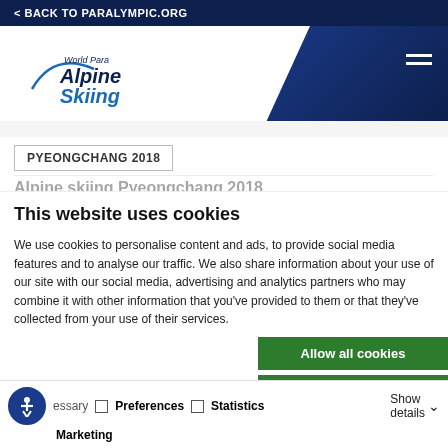< BACK TO PARALYMPIC.ORG
[Figure (logo): World Para Alpine Skiing logo with blue text on white background, with dark blue geometric header background and hamburger menu icon]
PYEONGCHANG 2018
This website uses cookies
We use cookies to personalise content and ads, to provide social media features and to analyse our traffic. We also share information about your use of our site with our social media, advertising and analytics partners who may combine it with other information that you've provided to them or that they've collected from your use of their services.
Allow all cookies
Allow selection
Use necessary cookies o
essary   Preferences   Statistics   Show details   Marketing